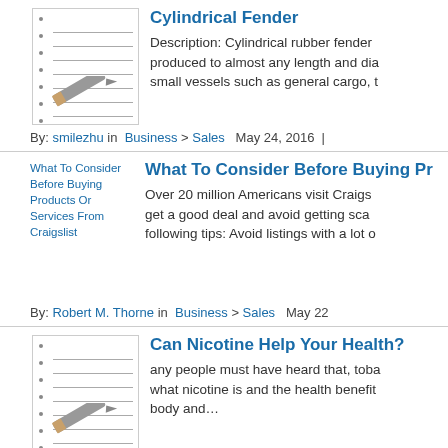[Figure (illustration): Notebook with pencil icon thumbnail]
Cylindrical Fender
Description: Cylindrical rubber fender produced to almost any length and dia small vessels such as general cargo, t
By: smilezhu in Business > Sales May 24, 2016
[Figure (illustration): Alt text image: What To Consider Before Buying Products Or Services From Craigslist]
What To Consider Before Buying Pr
Over 20 million Americans visit Craigs get a good deal and avoid getting sca following tips: Avoid listings with a lot o
By: Robert M. Thorne in Business > Sales May 22
[Figure (illustration): Notebook with pencil icon thumbnail]
Can Nicotine Help Your Health?
any people must have heard that, toba what nicotine is and the health benefit body and…
By: Jayesh Patel in Business > Sales Apr 28, 201